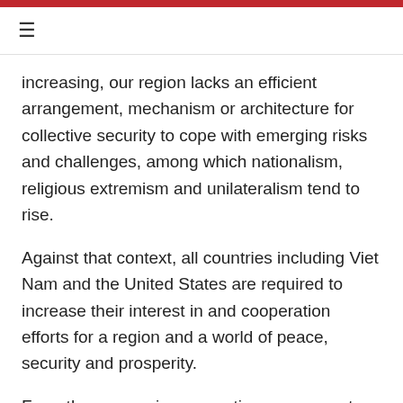≡
increasing, our region lacks an efficient arrangement, mechanism or architecture for collective security to cope with emerging risks and challenges, among which nationalism, religious extremism and unilateralism tend to rise.
Against that context, all countries including Viet Nam and the United States are required to increase their interest in and cooperation efforts for a region and a world of peace, security and prosperity.
From the economic perspective, we support the cooperation models for equitable, sustainable and mutually beneficial development between countries. We support the initiatives to boost trade and investment to